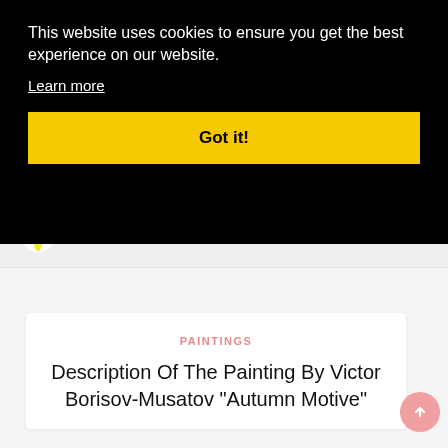This website uses cookies to ensure you get the best experience on our website. Learn more
Got it!
uobJOURNAL
PAINTINGS
Description Of The Painting By Victor Borisov-Musatov "Autumn Motive"